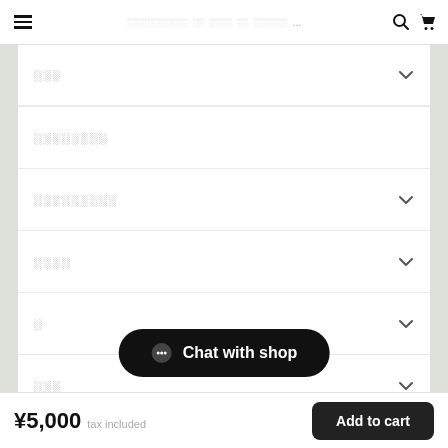≡ ░░░░░░░░░░ ░░ ░░░░ ░░ ░░░░░░ ... 🔍 🛒
░░░
░░░░░░░░
░░░░░░░░░
░░░░
░
░░░
░░
[Figure (other): Chat with shop button — rounded black pill button with chat bubble icon]
¥5,000 tax included  |  Add to cart